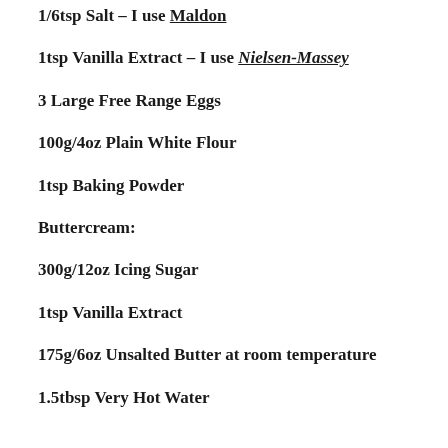1/6tsp Salt – I use Maldon
1tsp Vanilla Extract – I use Nielsen-Massey
3 Large Free Range Eggs
100g/4oz Plain White Flour
1tsp Baking Powder
Buttercream:
300g/12oz Icing Sugar
1tsp Vanilla Extract
175g/6oz Unsalted Butter at room temperature
1.5tbsp Very Hot Water